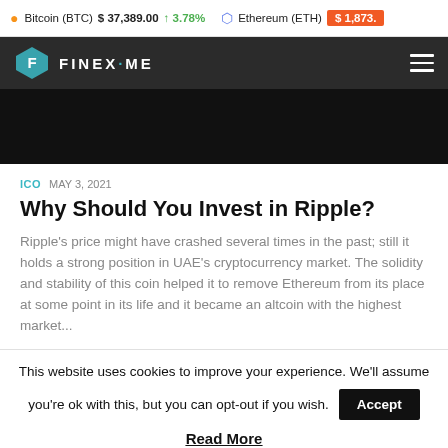Bitcoin (BTC) $37,389.00 ↑3.78%   Ethereum (ETH) $1,873.
[Figure (logo): FINEX·ME logo on dark navigation bar with hamburger menu icon]
[Figure (photo): Dark/black hero image banner]
ICO  MAY 3, 2021
Why Should You Invest in Ripple?
Ripple's price might have crashed several times in the past; still it holds a strong position in UAE's cryptocurrency market. The solidity and stability of this coin helped it to remove Ethereum from its place at some point in its life and it became an altcoin with the highest market...
This website uses cookies to improve your experience. We'll assume you're ok with this, but you can opt-out if you wish. Accept
Read More